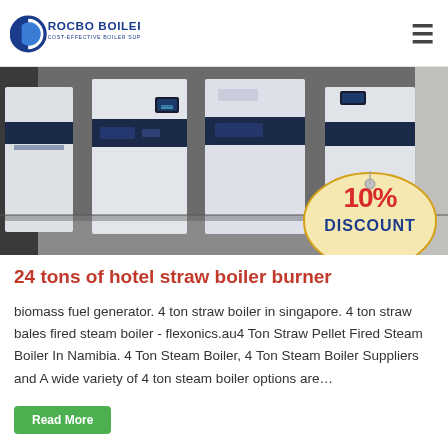ROCBO BOILER - COST-EFFECTIVE BOILER SUPPLIER
[Figure (photo): Industrial boilers in a facility with white and dark blue panels. A '10% DISCOUNT' badge is visible in the bottom right corner.]
24 tons of hotel straw boiler burner
biomass fuel generator. 4 ton straw boiler in singapore. 4 ton straw bales fired steam boiler - flexonics.au4 Ton Straw Pellet Fired Steam Boiler In Namibia. 4 Ton Steam Boiler, 4 Ton Steam Boiler Suppliers and A wide variety of 4 ton steam boiler options are…